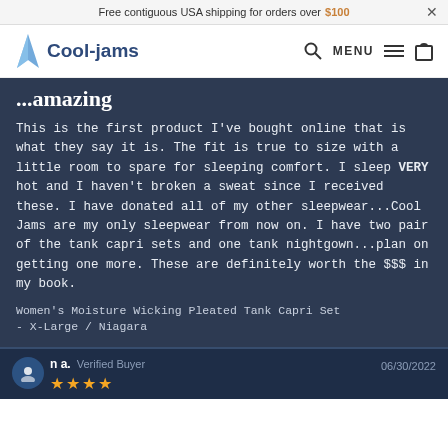Free contiguous USA shipping for orders over $100  ×
Cool-jams   🔍  MENU ≡  🛍
This is the first product I've bought online that is what they say it is. The fit is true to size with a little room to spare for sleeping comfort. I sleep VERY hot and I haven't broken a sweat since I received these. I have donated all of my other sleepwear...Cool Jams are my only sleepwear from now on. I have two pair of the tank capri sets and one tank nightgown...plan on getting one more. These are definitely worth the $$$ in my book.
Women's Moisture Wicking Pleated Tank Capri Set
- X-Large / Niagara
n a.   Verified Buyer   06/30/2022